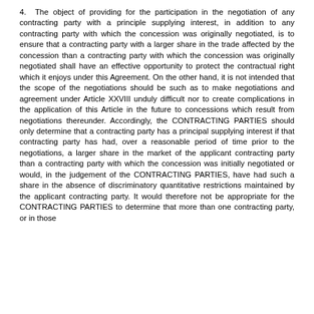4.  The object of providing for the participation in the negotiation of any contracting party with a principle supplying interest, in addition to any contracting party with which the concession was originally negotiated, is to ensure that a contracting party with a larger share in the trade affected by the concession than a contracting party with which the concession was originally negotiated shall have an effective opportunity to protect the contractual right which it enjoys under this Agreement. On the other hand, it is not intended that the scope of the negotiations should be such as to make negotiations and agreement under Article XXVIII unduly difficult nor to create complications in the application of this Article in the future to concessions which result from negotiations thereunder. Accordingly, the CONTRACTING PARTIES should only determine that a contracting party has a principal supplying interest if that contracting party has had, over a reasonable period of time prior to the negotiations, a larger share in the market of the applicant contracting party than a contracting party with which the concession was initially negotiated or would, in the judgement of the CONTRACTING PARTIES, have had such a share in the absence of discriminatory quantitative restrictions maintained by the applicant contracting party. It would therefore not be appropriate for the CONTRACTING PARTIES to determine that more than one contracting party, or in those